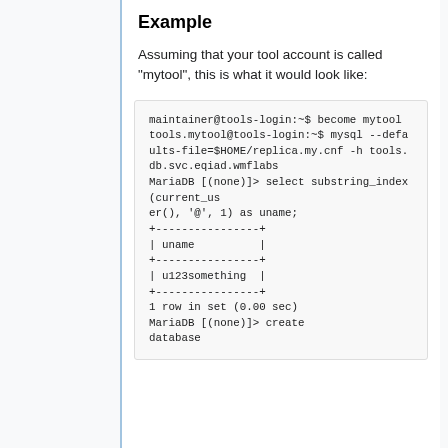Example
Assuming that your tool account is called "mytool", this is what it would look like:
[Figure (screenshot): A terminal/code block showing maintainer@tools-login:~$ become mytool
tools.mytool@tools-login:~$ mysql --defaults-file=$HOME/replica.my.cnf -h tools.db.svc.eqiad.wmflabs
MariaDB [(none)]> select substring_index(current_user(), '@', 1) as uname;
+----------------+
| uname          |
+----------------+
| u123something  |
+----------------+
1 row in set (0.00 sec)
MariaDB [(none)]> create database]